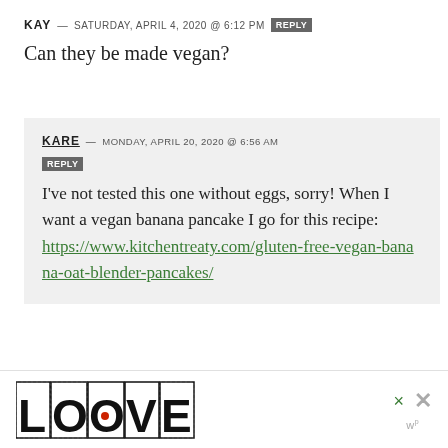KAY — SATURDAY, APRIL 4, 2020 @ 6:12 PM  REPLY
Can they be made vegan?
KARE — MONDAY, APRIL 20, 2020 @ 6:56 AM  REPLY
I've not tested this one without eggs, sorry! When I want a vegan banana pancake I go for this recipe: https://www.kitchentreaty.com/gluten-free-vegan-banana-oat-blender-pancakes/
[Figure (logo): LOVE logo in decorative black and white art style with red dot, followed by close/dismiss buttons and wp logo]